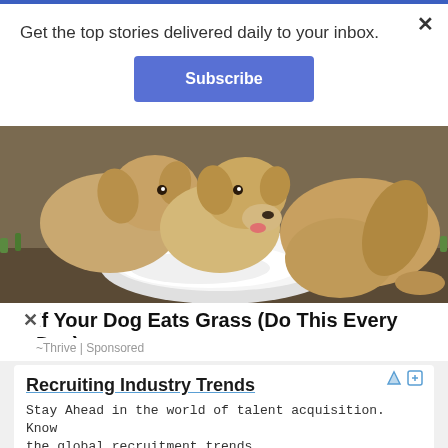Get the top stories delivered daily to your inbox.
Subscribe
[Figure (photo): Three golden Labrador puppies eating/licking from a white bowl or plate containing white substance, photographed from above on a dark ground.]
If Your Dog Eats Grass (Do This Every Day)
~Thrive | Sponsored
Recruiting Industry Trends
Stay Ahead in the world of talent acquisition. Know the global recruitment trends.
RChilli Inc
Open